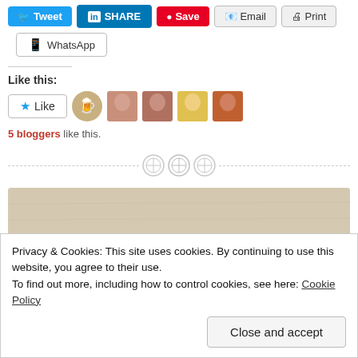[Figure (screenshot): Social share buttons: Tweet, Share (LinkedIn), Save (Pinterest), Email, Print, WhatsApp]
Like this:
[Figure (screenshot): WordPress Like button with star icon labeled 'Like', followed by 5 blogger avatar thumbnails]
5 bloggers like this.
[Figure (illustration): Dashed horizontal divider with three circular button/gear icons in the center]
[Figure (photo): Partial photo strip showing a beige/tan vintage cardboard texture, with black and white photo visible at bottom]
Privacy & Cookies: This site uses cookies. By continuing to use this website, you agree to their use.
To find out more, including how to control cookies, see here: Cookie Policy
Close and accept